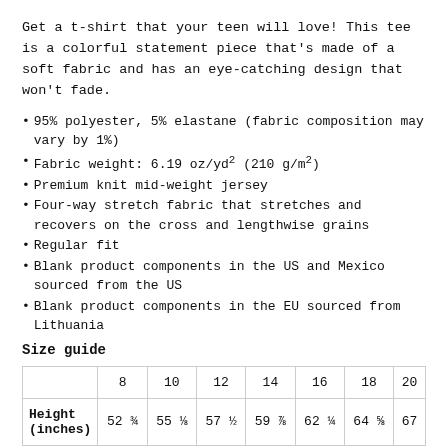Get a t-shirt that your teen will love! This tee is a colorful statement piece that's made of a soft fabric and has an eye-catching design that won't fade.
95% polyester, 5% elastane (fabric composition may vary by 1%)
Fabric weight: 6.19 oz/yd² (210 g/m²)
Premium knit mid-weight jersey
Four-way stretch fabric that stretches and recovers on the cross and lengthwise grains
Regular fit
Blank product components in the US and Mexico sourced from the US
Blank product components in the EU sourced from Lithuania
Size guide
|  | 8 | 10 | 12 | 14 | 16 | 18 | 20 |
| --- | --- | --- | --- | --- | --- | --- | --- |
| Height (inches) | 52 ¾ | 55 ⅛ | 57 ½ | 59 ⅞ | 62 ¼ | 64 ⅝ | 67 |